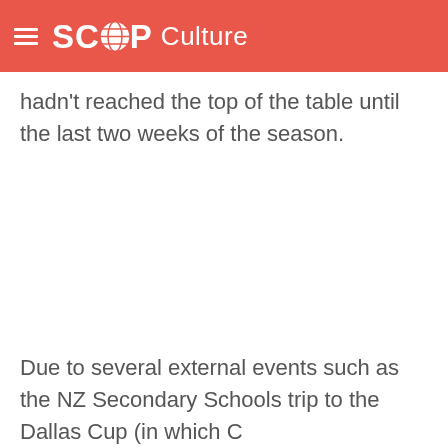SCOOP Culture
hadn't reached the top of the table until the last two weeks of the season.
Due to several external events such as the NZ Secondary Schools trip to the Dallas Cup (in which C